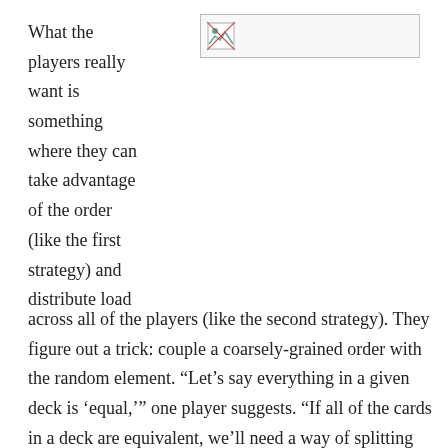What the players really want is something where they can take advantage of the order (like the first strategy) and distribute load across all of the players (like the second strategy). They figure out a trick: couple a coarsely-grained order with the random element. “Let’s say everything in a given deck is ‘equal,’” one player suggests. “If all of the cards in a deck are equivalent, we’ll need a way of splitting chunks, so we’ll also use the MD5 hash as a secondary criteria.”
[Figure (other): Broken/loading image placeholder icon in a bordered rectangle]